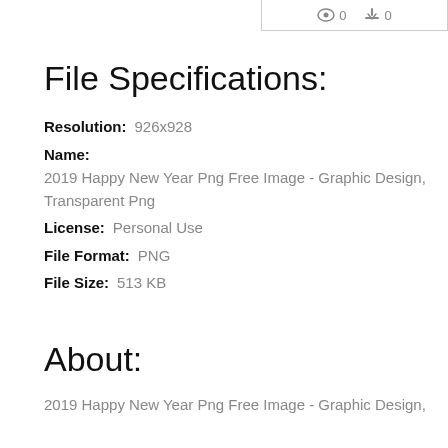[Figure (other): Icon bar showing eye icon with count 0 and download icon with count 0]
File Specifications:
Resolution: 926x928
Name: 2019 Happy New Year Png Free Image - Graphic Design, Transparent Png
License: Personal Use
File Format: PNG
File Size: 513 KB
About:
2019 Happy New Year Png Free Image - Graphic Design,